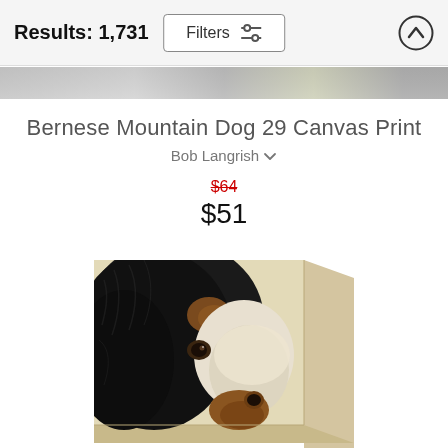Results: 1,731
Filters
Bernese Mountain Dog 29 Canvas Print
Bob Langrish
$64
$51
[Figure (photo): Canvas print showing a close-up painting of a Bernese Mountain Dog's face with black, white and brown coloring against a beige textured background, displayed on a canvas with visible side edge.]